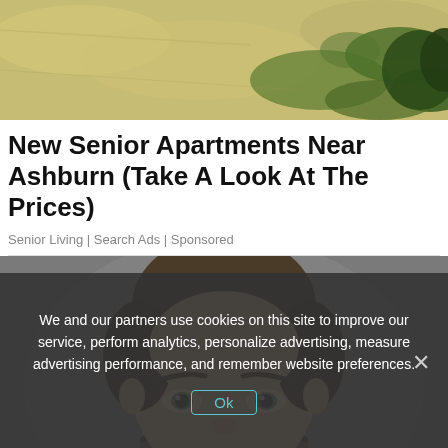[Figure (photo): Overhead photo of a grassy field or lawn, yellowed and green patchy grass texture, cropped at the top of the page.]
New Senior Apartments Near Ashburn (Take A Look At The Prices)
Senior Living | Search Ads | Sponsored
[Figure (photo): Close-up photo of a young man's face with short brown hair, looking forward, against a gray background. Only the upper half of his face is visible.]
We and our partners use cookies on this site to improve our service, perform analytics, personalize advertising, measure advertising performance, and remember website preferences.